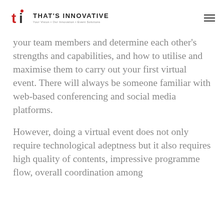THAT'S INNOVATIVE — Your Vision • Our Innovation • Event Solutions
your team members and determine each other's strengths and capabilities, and how to utilise and maximise them to carry out your first virtual event. There will always be someone familiar with web-based conferencing and social media platforms.
However, doing a virtual event does not only require technological adeptness but it also requires high quality of contents, impressive programme flow, overall coordination among